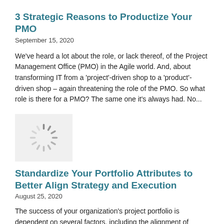3 Strategic Reasons to Productize Your PMO
September 15, 2020
We've heard a lot about the role, or lack thereof, of the Project Management Office (PMO) in the Agile world. And, about transforming IT from a 'project'-driven shop to a 'product'-driven shop – again threatening the role of the PMO. So what role is there for a PMO? The same one it's always had. No...
[Figure (illustration): Loading spinner / gear icon thumbnail image on light gray background]
Standardize Your Portfolio Attributes to Better Align Strategy and Execution
August 25, 2020
The success of your organization's project portfolio is dependent on several factors, including the alignment of